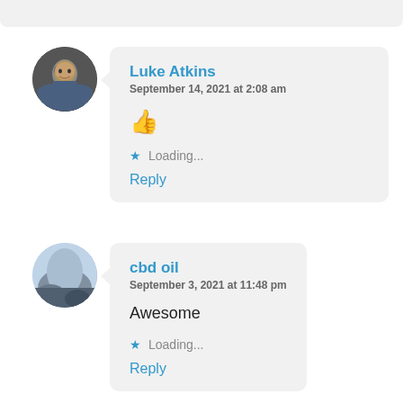[Figure (screenshot): Partial top edge of a previous comment card]
Luke Atkins
September 14, 2021 at 2:08 am
👍
★ Loading...
Reply
cbd oil
September 3, 2021 at 11:48 pm
Awesome
★ Loading...
Reply